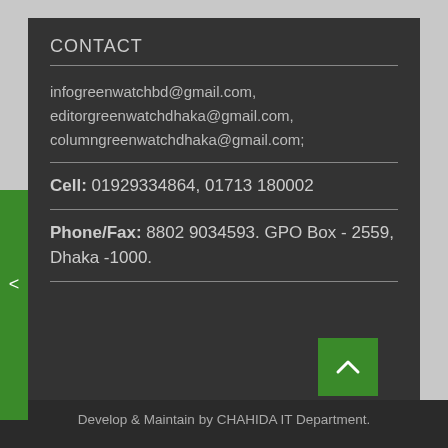CONTACT
infogreenwatchbd@gmail.com, editorgreenwatchdhaka@gmail.com, columngreenwatchdhaka@gmail.com;
Cell: 01929334864, 01713 180002
Phone/Fax: 8802 9034593. GPO Box - 2559, Dhaka -1000.
Develop & Maintain by CHAHIDA IT Department.